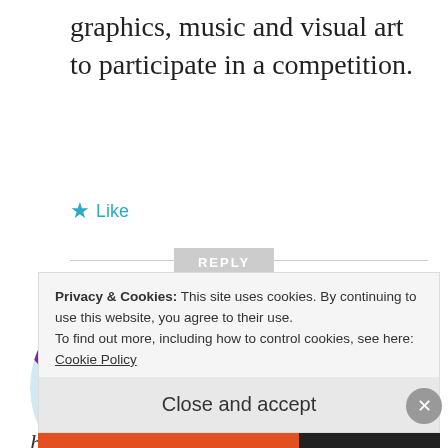graphics, music and visual art to participate in a competition.
★ Like
REPLY
[Figure (logo): Retro VGM circular logo with rainbow diagonal stripes and black text reading RETRO VGM]
Phendrena
JULY 9, 2012 AT 17:44
It was always nice to see what new
Privacy & Cookies: This site uses cookies. By continuing to use this website, you agree to their use.
To find out more, including how to control cookies, see here: Cookie Policy
Close and accept